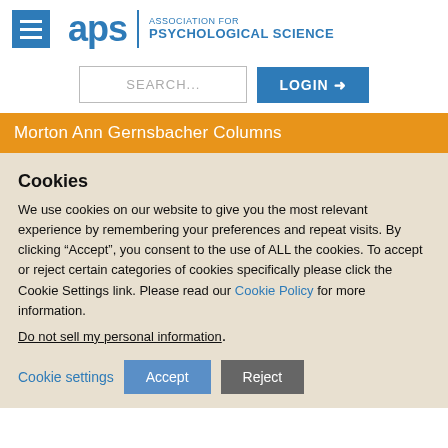[Figure (logo): APS (Association for Psychological Science) logo with hamburger menu icon]
[Figure (screenshot): Search input field and Login button]
Morton Ann Gernsbacher Columns
Cookies
We use cookies on our website to give you the most relevant experience by remembering your preferences and repeat visits. By clicking “Accept”, you consent to the use of ALL the cookies. To accept or reject certain categories of cookies specifically please click the Cookie Settings link. Please read our Cookie Policy for more information.
Do not sell my personal information.
Cookie settings | Accept | Reject